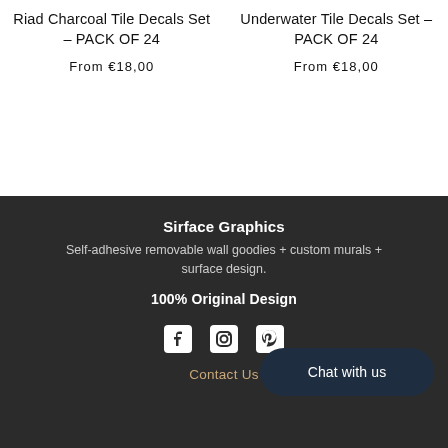Riad Charcoal Tile Decals Set - PACK OF 24
From €18,00
Underwater Tile Decals Set - PACK OF 24
From €18,00
Sirface Graphics
Self-adhesive removable wall goodies + custom murals + surface design.
100% Original Design
[Figure (infographic): Social media icons: Facebook, Instagram, Pinterest]
Chat with us
Contact Us